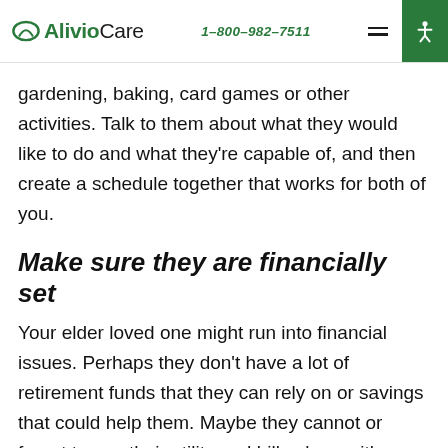AlivioCare  1-800-982-7511
gardening, baking, card games or other activities. Talk to them about what they would like to do and what they're capable of, and then create a schedule together that works for both of you.
Make sure they are financially set
Your elder loved one might run into financial issues. Perhaps they don't have a lot of retirement funds that they can rely on or savings that could help them. Maybe they cannot or forget to pay their utility and bills along with